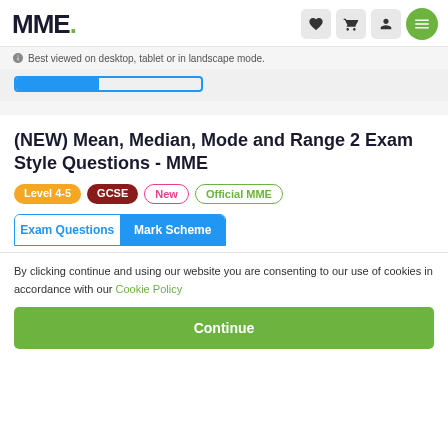MME.
Best viewed on desktop, tablet or in landscape mode.
(NEW) Mean, Median, Mode and Range 2 Exam Style Questions - MME
Level 4-5  GCSE  New  Official MME
Exam Questions   Mark Scheme
By clicking continue and using our website you are consenting to our use of cookies in accordance with our Cookie Policy
Continue